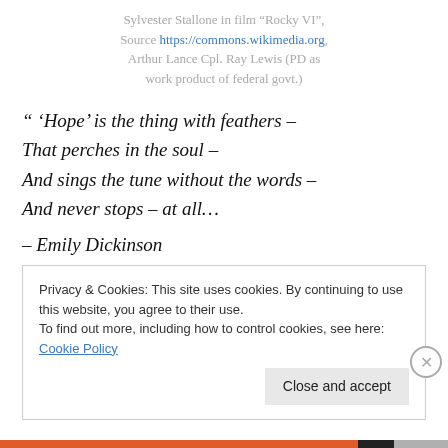Sylvester Stallone in film “Rocky VI”, Source https://commons.wikimedia.org, Arthur Lance Cpl. Ray Lewis (PD as work product of federal govt.)
“ ‘Hope’ is the thing with feathers –
That perches in the soul –
And sings the tune without the words –
And never stops – at all…

– Emily Dickinson
Privacy & Cookies: This site uses cookies. By continuing to use this website, you agree to their use. To find out more, including how to control cookies, see here: Cookie Policy